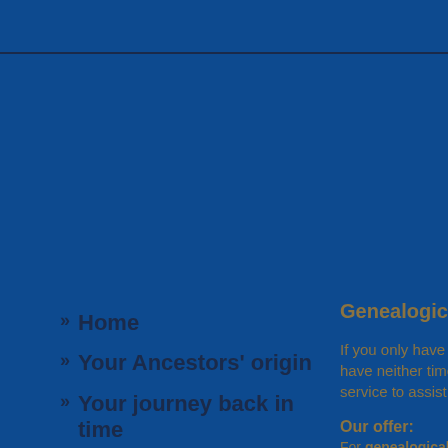» Home
» Your Ancestors' origin
» Your journey back in time
» Our offer
» How to start
» Example of a journey
» Baden, Wuerttemberg, Hohenzollern
Genealogical rese
If you only have detai have neither time nor service to assist you o
Our offer: For genealogical re plus additional costs o You do...